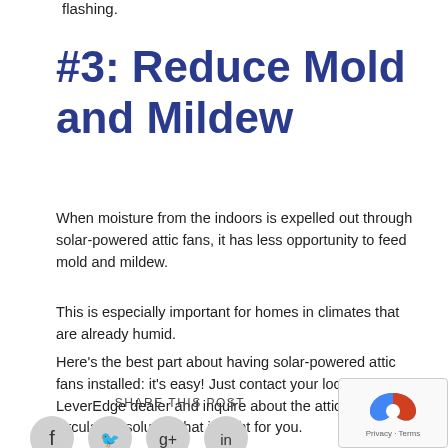flashing.
#3: Reduce Mold and Mildew
When moisture from the indoors is expelled out through solar-powered attic fans, it has less opportunity to feed mold and mildew.
This is especially important for homes in climates that are already humid.
Here’s the best part about having solar-powered attic fans installed: it’s easy! Just contact your local LeverEdge dealer and inquire about the attic air circulation solution that is right for you.
SHARE THIS POST
[Figure (other): Social media share icons: Facebook, Twitter, Google+, LinkedIn]